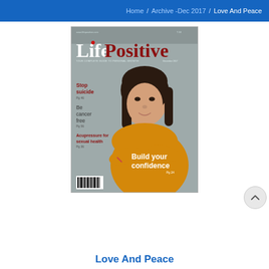Home / Archive -Dec 2017 / Love And Peace
[Figure (illustration): Magazine cover of Life Positive December 2017 issue. Features a young woman with dark hair wearing a yellow sweater with arms crossed, smiling. Cover text includes: Stop suicide Pg 46, Be cancer free Pg 56, Acupressure for sexual health Pg 36, Build your confidence Pg 24. Website: www.lifepositive.com, Price: T 60, tagline: YOUR COMPLETE GUIDE TO PERSONAL GROWTH.]
Love And Peace